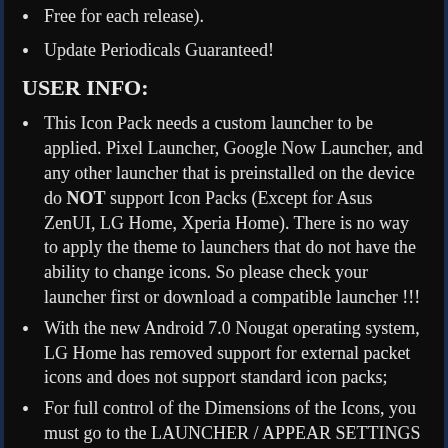Free for each release).
Update Periodicals Guaranteed!
USER INFO:
This Icon Pack needs a custom launcher to be applied. Pixel Launcher, Google Now Launcher, and any other launcher that is preinstalled on the device do NOT support Icon Packs (Except for Asus ZenUI, LG Home, Xperia Home). There is no way to apply the theme to launchers that do not have the ability to change icons. So please check your launcher first or download a compatible launcher !!!
With the new Android 7.0 Nougat operating system, LG Home has removed support for external packet icons and does not support standard icon packs;
For full control of the Dimensions of the Icons, you must go to the LAUNCHER / APPEAR SETTINGS and DISABLE the “NORMALIZE ICONS” function. — Action Required on NOVA